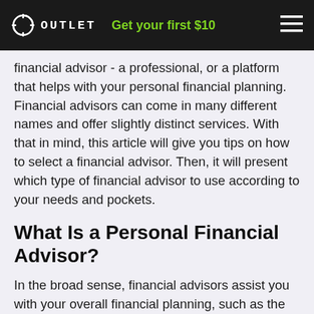OUTLET  Get your first $10
financial advisor - a professional, or a platform that helps with your personal financial planning. Financial advisors can come in many different names and offer slightly distinct services. With that in mind, this article will give you tips on how to select a financial advisor. Then, it will present which type of financial advisor to use according to your needs and pockets.
What Is a Personal Financial Advisor?
In the broad sense, financial advisors assist you with your overall financial planning, such as the creation of strategies for reducing financial risk